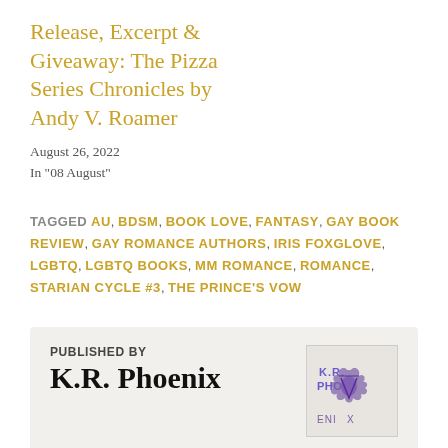Release, Excerpt & Giveaway: The Pizza Series Chronicles by Andy V. Roamer
August 26, 2022
In "08 August"
TAGGED AU, BDSM, BOOK LOVE, FANTASY, GAY BOOK REVIEW, GAY ROMANCE AUTHORS, IRIS FOXGLOVE, LGBTQ, LGBTQ BOOKS, MM ROMANCE, ROMANCE, STARIAN CYCLE #3, THE PRINCE'S VOW
PUBLISHED BY
K.R. Phoenix
Hi! I'm Katie and I'm an obsessive reader, wife and mum. I love books, support all things